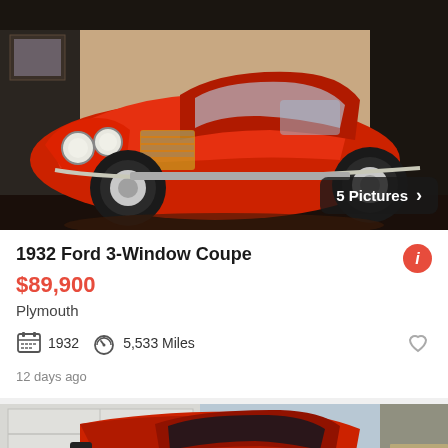[Figure (photo): Red 1932 Ford 3-Window Coupe hot rod displayed indoors on a dark circular platform, front three-quarter view. Badge overlay: '5 Pictures >']
1932 Ford 3-Window Coupe
$89,900
Plymouth
1932  5,533 Miles
12 days ago
[Figure (photo): Red classic hot rod coupe parked in a driveway near a garage door and stone steps, partial view. Badge overlay partially visible at bottom right.]